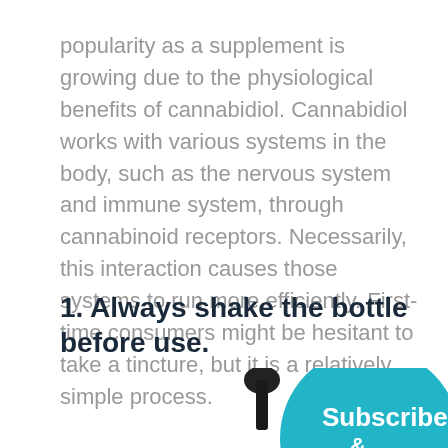popularity as a supplement is growing due to the physiological benefits of cannabidiol. Cannabidiol works with various systems in the body, such as the nervous system and immune system, through cannabinoid receptors. Necessarily, this interaction causes those systems to run more efficiently. First-time consumers might be hesitant to take a tincture, but it is a relatively simple process.
1. Always shake the bottle before use.
[Figure (illustration): A dropper bottle top (black rubber bulb) and a teal/cyan circular Subscribe badge]